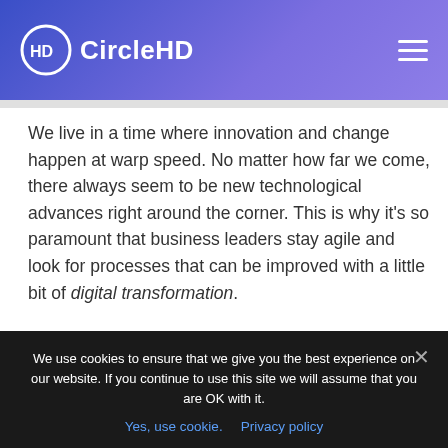CircleHD
We live in a time where innovation and change happen at warp speed. No matter how far we come, there always seem to be new technological advances right around the corner. This is why it’s so paramount that business leaders stay agile and look for processes that can be improved with a little bit of digital transformation.
If you’ve heard that phrase before and are a bit confused by it, you’re not alone. Digital transformation
We use cookies to ensure that we give you the best experience on our website. If you continue to use this site we will assume that you are OK with it.
Yes, use cookie.  Privacy policy